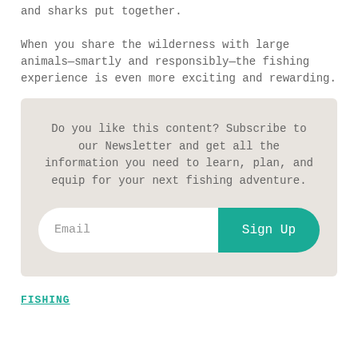and sharks put together.

When you share the wilderness with large animals—smartly and responsibly—the fishing experience is even more exciting and rewarding.
Do you like this content? Subscribe to our Newsletter and get all the information you need to learn, plan, and equip for your next fishing adventure.
FISHING